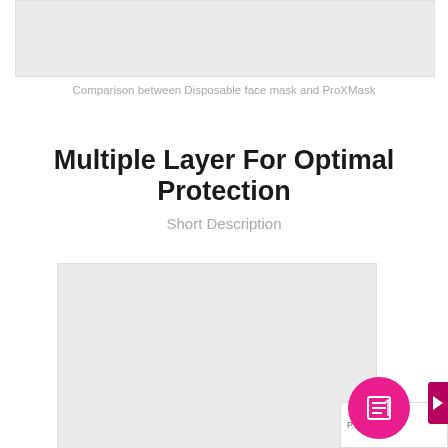[Figure (photo): Top gray placeholder image block]
Comparison between Disposable face mask and ProXMask
Multiple Layer For Optimal Protection
Short Description
[Figure (photo): Bottom gray placeholder image block with pink UI button overlay]